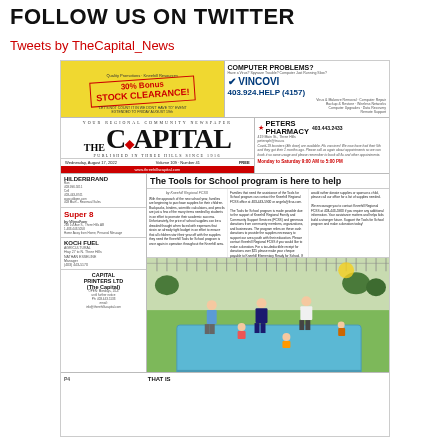FOLLOW US ON TWITTER
Tweets by TheCapital_News
[Figure (screenshot): Screenshot of The Capital newspaper front page, Wednesday August 17 2022, Volume 109 Number 41, with advertisements, nameplate, article 'The Tools for School program is here to help', and a photo of children at a pool.]